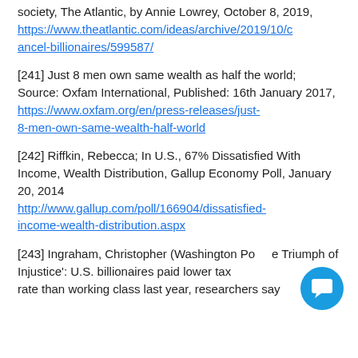society, The Atlantic, by Annie Lowrey, October 8, 2019, https://www.theatlantic.com/ideas/archive/2019/10/cancel-billionaires/599587/
[241] Just 8 men own same wealth as half the world; Source: Oxfam International, Published: 16th January 2017, https://www.oxfam.org/en/press-releases/just-8-men-own-same-wealth-half-world
[242] Riffkin, Rebecca; In U.S., 67% Dissatisfied With Income, Wealth Distribution, Gallup Economy Poll, January 20, 2014 http://www.gallup.com/poll/166904/dissatisfied-income-wealth-distribution.aspx
[243] Ingraham, Christopher (Washington Post) 'The Triumph of Injustice': U.S. billionaires paid lower tax rate than working class last year, researchers say